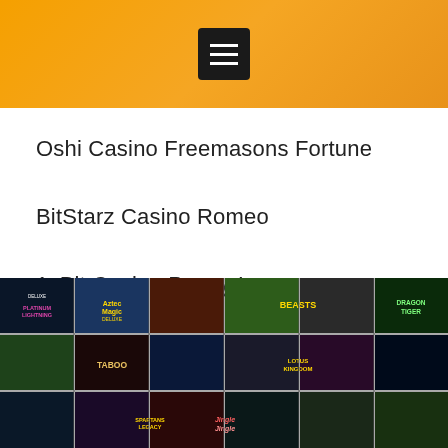Oshi Casino Freemasons Fortune
BitStarz Casino Romeo
1xBit Casino Puppy Love
[Figure (screenshot): Grid of casino game thumbnails showing games including Platinum Lightning, Aztec Magic Deluxe, a queen-themed slot, Sugar Pop Double Dipped, Beasts, Dragon Tiger, Ice & Mariachi, Taboo, Hunting the Treasures, Lotus Kingdom, Aladin Wins, Paris, Spartans Legacy, Jingle Jingle, The Skyway, and a frog-themed slot.]